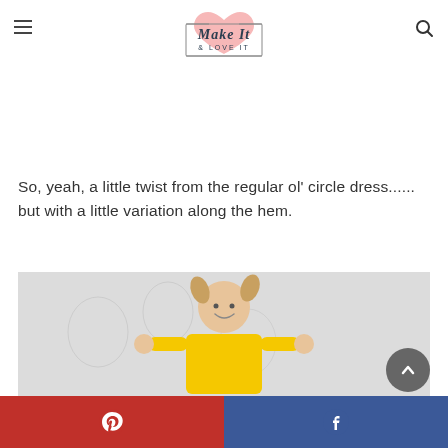Make It & Love It
So, yeah, a little twist from the regular ol' circle dress...... but with a little variation along the hem.
[Figure (photo): Young girl with pigtails wearing a yellow dress, smiling, against a light patterned background]
[Figure (other): Social sharing bar with Pinterest (red) and Facebook (blue) buttons]